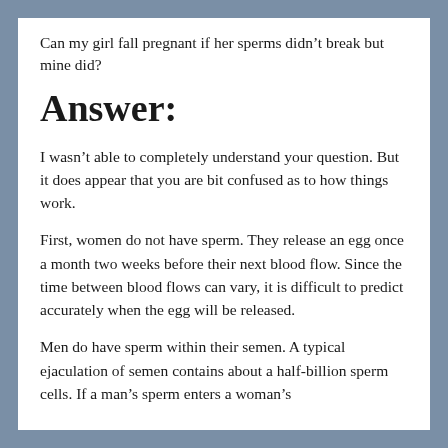Can my girl fall pregnant if her sperms didn't break but mine did?
Answer:
I wasn't able to completely understand your question. But it does appear that you are bit confused as to how things work.
First, women do not have sperm. They release an egg once a month two weeks before their next blood flow. Since the time between blood flows can vary, it is difficult to predict accurately when the egg will be released.
Men do have sperm within their semen. A typical ejaculation of semen contains about a half-billion sperm cells. If a man's sperm enters a woman's